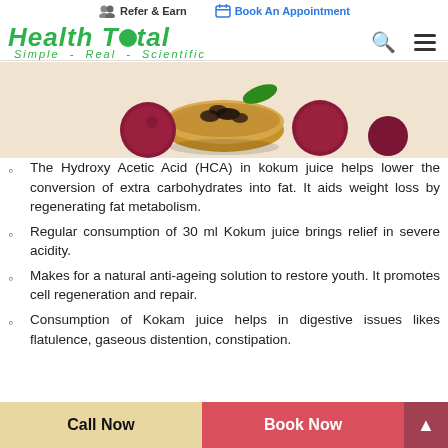Refer & Earn   Book An Appointment
[Figure (logo): Health Total logo with tagline Simple - Real - Scientific]
[Figure (photo): Kokum fruits and dried seeds in a wooden bowl]
The Hydroxy Acetic Acid (HCA) in kokum juice helps lower the conversion of extra carbohydrates into fat. It aids weight loss by regenerating fat metabolism.
Regular consumption of 30 ml Kokum juice brings relief in severe acidity.
Makes for a natural anti-ageing solution to restore youth. It promotes cell regeneration and repair.
Consumption of Kokam juice helps in digestive issues likes flatulence, gaseous distention, constipation.
Call Now   Book Now